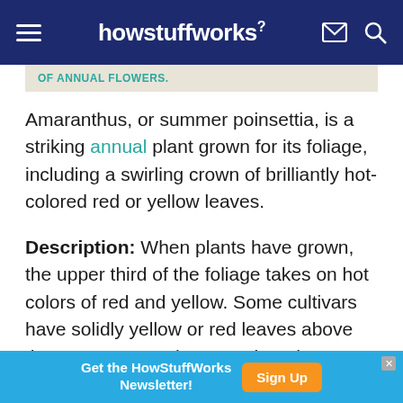howstuffworks
OF ANNUAL FLOWERS.
Amaranthus, or summer poinsettia, is a striking annual plant grown for its foliage, including a swirling crown of brilliantly hot-colored red or yellow leaves.
Description: When plants have grown, the upper third of the foliage takes on hot colors of red and yellow. Some cultivars have solidly yellow or red leaves above the green ones, whereas others have mixed colors. The color lasts from about
Get the HowStuffWorks Newsletter! Sign Up